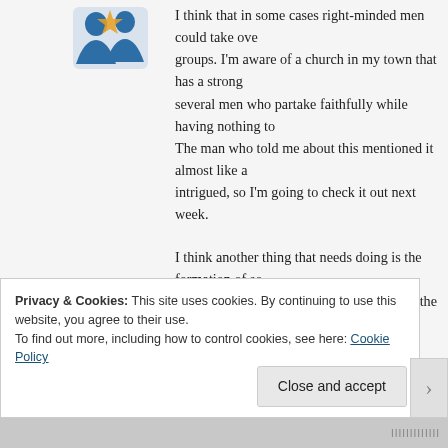[Figure (logo): Blue icon/avatar in top left of content area]
I think that in some cases right-minded men could take over groups. I'm aware of a church in my town that has a strong several men who partake faithfully while having nothing to The man who told me about this mentioned it almost like a intrigued, so I'm going to check it out next week.

I think another thing that needs doing is the formation of so association meant to fill in the gaps left by the corruption o churches. It could have a referral service. Referrals to indiv believe have gotten it right, where available. Referrals to ot outside the walls of churches in localities where no decent c not familiar with the Christian Manosphere, but I'm sure it vehicle to bring like – minded men together in person.
Privacy & Cookies: This site uses cookies. By continuing to use this website, you agree to their use.
To find out more, including how to control cookies, see here: Cookie Policy
Close and accept